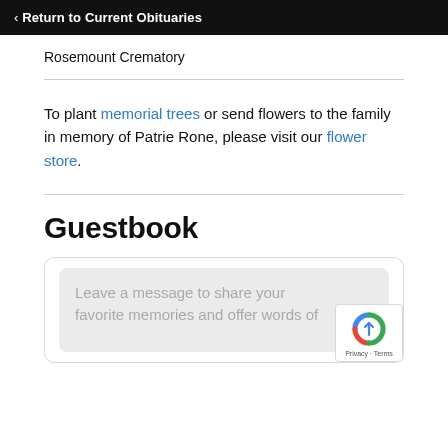< Return to Current Obituaries
Rosemount Crematory
To plant memorial trees or send flowers to the family in memory of Patrie Rone, please visit our flower store.
Guestbook
Leave a message to share your favorite memories and offer words of